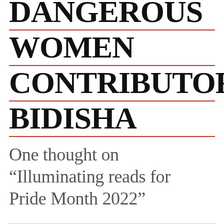DANGEROUS WOMEN CONTRIBUTOR BIDISHA
One thought on “Illuminating reads for Pride Month 2022”